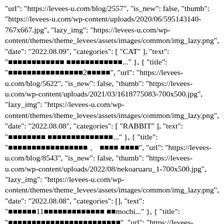"url": "https://levees-u.com/blog/2557", "is_new": false, "thumb": "https://levees-u.com/wp-content/uploads/2020/06/595143140-767x667.jpg", "lazy_img": "https://levees-u.com/wp-content/themes/theme_levees/assets/images/common/img_lazy.png", "date": "2022.08.09", "categories": [ "CAT" ], "text": "[Japanese text]..." }, { "title": "[Japanese text]2[Japanese text]", "url": "https://levees-u.com/blog/5622", "is_new": false, "thumb": "https://levees-u.com/wp-content/uploads/2021/03/1618775083-700x500.jpg", "lazy_img": "https://levees-u.com/wp-content/themes/theme_levees/assets/images/common/img_lazy.png", "date": "2022.08.08", "categories": [ "RABBIT" ], "text": "[Japanese text]..." }, { "title": "[Japanese text] 、 [Japanese text]", "url": "https://levees-u.com/blog/8543", "is_new": false, "thumb": "https://levees-u.com/wp-content/uploads/2022/08/nekoaruaru_1-700x500.jpg", "lazy_img": "https://levees-u.com/wp-content/themes/theme_levees/assets/images/common/img_lazy.png", "date": "2022.08.08", "categories": [], "text": "[Japanese text]11[Japanese text]mochi..." }, { "title": "[Japanese text]", "url": "https://levees-u.com/blog/8567", "is_new": false, "thumb": "https://levees-u.com/wp-content/uploads/2022/08/1794102082-700x500.jpg", "lazy_img": "https://levees-u.com/wp-content/themes/theme_levees/assets/images/common/img_lazy.png", "date": "2022.08.04", "categories": [ "DOG" ], "text": "[Japanese text]..." } ] }